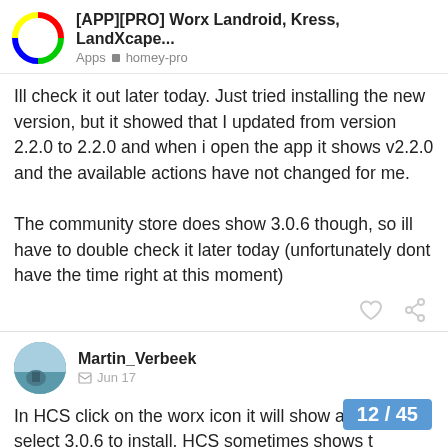[APP][PRO] Worx Landroid, Kress, LandXcape... Apps · homey-pro
Ill check it out later today. Just tried installing the new version, but it showed that I updated from version 2.2.0 to 2.2.0 and when i open the app it shows v2.2.0 and the available actions have not changed for me.

The community store does show 3.0.6 though, so ill have to double check it later today (unfortunately dont have the time right at this moment)
Martin_Verbeek  Jun 17
In HCS click on the worx icon it will show all versions, select 3.0.6 to install. HCS sometimes shows t